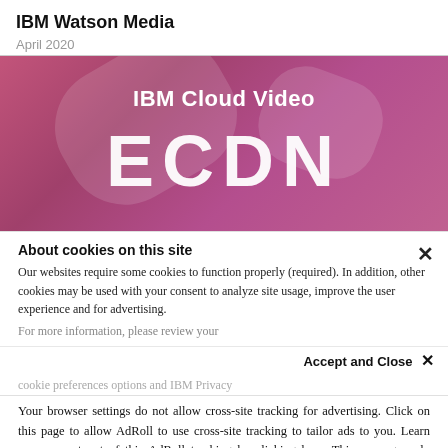IBM Watson Media
April 2020
[Figure (screenshot): IBM Cloud Video ECDN banner image with pink/magenta gradient background, white bold text reading 'IBM Cloud Video' and large letters 'ECDN']
About cookies on this site
Our websites require some cookies to function properly (required). In addition, other cookies may be used with your consent to analyze site usage, improve the user experience and for advertising.
For more information, please review your
Accept and Close ×
cookie preferences options and IBM Privacy
Your browser settings do not allow cross-site tracking for advertising. Click on this page to allow AdRoll to use cross-site tracking to tailor ads to you. Learn more or opt out of this AdRoll tracking by clicking here. This message only appears once.